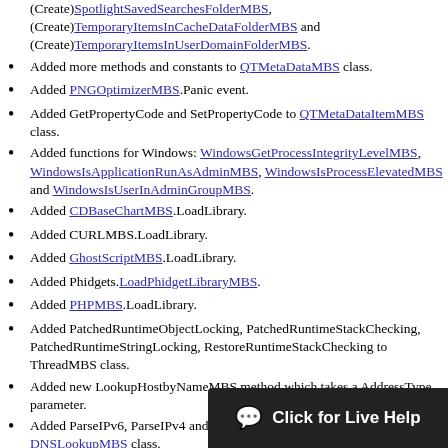(Create)SpotlightSavedSearchesFolderMBS, (Create)TemporaryItemsInCacheDataFolderMBS and (Create)TemporaryItemsInUserDomainFolderMBS.
Added more methods and constants to QTMetaDataMBS class.
Added PNGOptimizerMBS.Panic event.
Added GetPropertyCode and SetPropertyCode to QTMetaDataItemMBS class.
Added functions for Windows: WindowsGetProcessIntegrityLevelMBS, WindowsIsApplicationRunAsAdminMBS, WindowsIsProcessElevatedMBS and WindowsIsUserInAdminGroupMBS.
Added CDBaseChartMBS.LoadLibrary.
Added CURLMBS.LoadLibrary.
Added GhostScriptMBS.LoadLibrary.
Added Phidgets.LoadPhidgetLibraryMBS.
Added PHPMBS.LoadLibrary.
Added PatchedRuntimeObjectLocking, PatchedRuntimeStackChecking, PatchedRuntimeStringLocking, RestoreRuntimeStackChecking to ThreadMBS class.
Added new LookupHostbyNameMBS method which takes a AddressType parameter.
Added ParseIPv6, ParseIPv4 and FormatIP shared methods to DNSLookupMBS class.
Added constants AddressTypeIPv4 and AddressTypeIPv6 to DNSLookupMBS class.
Added CIFilterMBS.Constructor to take a handler.
Added CIFilterMBS.FilterWithHa...
Added CGGetOnlineDisplayListMBS...